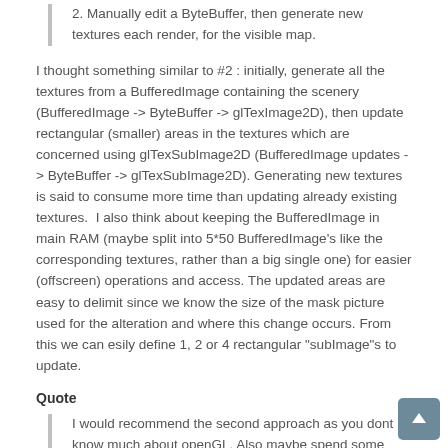2. Manually edit a ByteBuffer, then generate new textures each render, for the visible map.
I thought something similar to #2 : initially, generate all the textures from a BufferedImage containing the scenery (BufferedImage -> ByteBuffer -> glTexImage2D), then update rectangular (smaller) areas in the textures which are concerned using glTexSubImage2D (BufferedImage updates -> ByteBuffer -> glTexSubImage2D). Generating new textures is said to consume more time than updating already existing textures.  I also think about keeping the BufferedImage in main RAM (maybe split into 5*50 BufferedImage's like the corresponding textures, rather than a big single one) for easier (offscreen) operations and access. The updated areas are easy to delimit since we know the size of the mask picture used for the alteration and where this change occurs. From this we can esily define 1, 2 or 4 rectangular "subImage"s to update.
Quote
I would recommend the second approach as you dont know much about openGL. Also maybe spend some time looking through source code for texture loading.